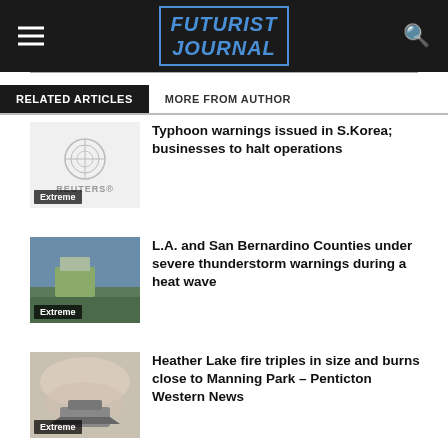Futurist Journal
RELATED ARTICLES | MORE FROM AUTHOR
Typhoon warnings issued in S.Korea; businesses to halt operations
L.A. and San Bernardino Counties under severe thunderstorm warnings during a heat wave
Heather Lake fire triples in size and burns close to Manning Park – Penticton Western News